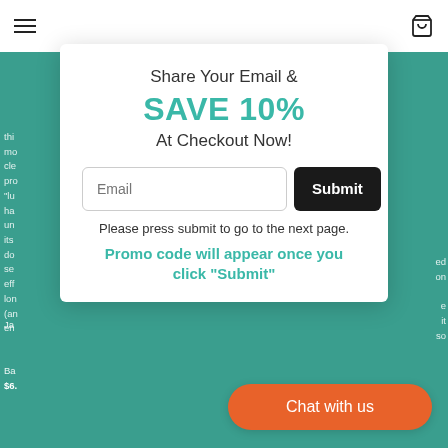Navigation bar with hamburger menu and cart icon
[Figure (screenshot): Email signup modal popup with teal background behind it. Modal contains heading 'Share Your Email & SAVE 10% At Checkout Now!', an email input field, a Submit button, instructions text, and promo code notice.]
Share Your Email &
SAVE 10%
At Checkout Now!
Please press submit to go to the next page.
Promo code will appear once you click "Submit"
Chat with us